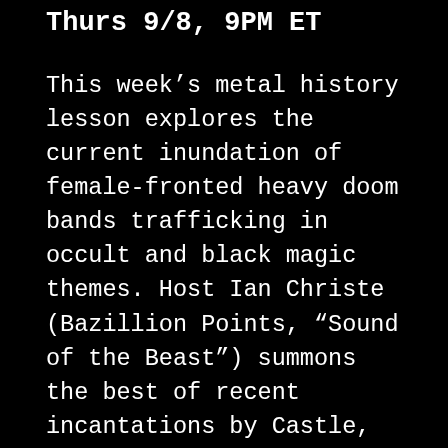Thurs 9/8, 9PM ET
This week's metal history lesson explores the current inundation of female-fronted heavy doom bands trafficking in occult and black magic themes. Host Ian Christe (Bazillion Points, “Sound of the Beast”) summons the best of recent incantations by Castle, Lucifer (pictured), Wooden Stake, Holy Grove, Serpentcult, Cauchemar, Mansion, and more. Know your Roots!
PLAYLIST:
HOLY GROVE – “Death of Magic” from HOLY GROVE